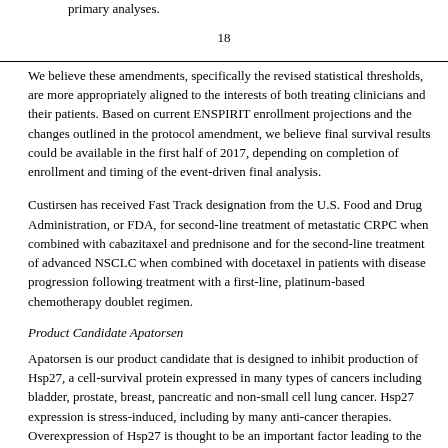primary analyses.
18
We believe these amendments, specifically the revised statistical thresholds, are more appropriately aligned to the interests of both treating clinicians and their patients. Based on current ENSPIRIT enrollment projections and the changes outlined in the protocol amendment, we believe final survival results could be available in the first half of 2017, depending on completion of enrollment and timing of the event-driven final analysis.
Custirsen has received Fast Track designation from the U.S. Food and Drug Administration, or FDA, for second-line treatment of metastatic CRPC when combined with cabazitaxel and prednisone and for the second-line treatment of advanced NSCLC when combined with docetaxel in patients with disease progression following treatment with a first-line, platinum-based chemotherapy doublet regimen.
Product Candidate Apatorsen
Apatorsen is our product candidate that is designed to inhibit production of Hsp27, a cell-survival protein expressed in many types of cancers including bladder, prostate, breast, pancreatic and non-small cell lung cancer. Hsp27 expression is stress-induced, including by many anti-cancer therapies. Overexpression of Hsp27 is thought to be an important factor leading to the development of treatment resistance and is associated with metastasis and